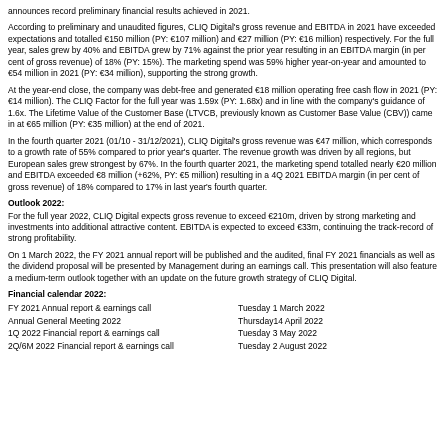announces record preliminary financial results achieved in 2021.
According to preliminary and unaudited figures, CLIQ Digital's gross revenue and EBITDA in 2021 have exceeded expectations and totalled €150 million (PY: €107 million) and €27 million (PY: €16 million) respectively. For the full year, sales grew by 40% and EBITDA grew by 71% against the prior year resulting in an EBITDA margin (in per cent of gross revenue) of 18% (PY: 15%). The marketing spend was 59% higher year-on-year and amounted to €54 million in 2021 (PY: €34 million), supporting the strong growth.
At the year-end close, the company was debt-free and generated €18 million operating free cash flow in 2021 (PY: €14 million). The CLIQ Factor for the full year was 1.59x (PY: 1.68x) and in line with the company's guidance of 1.6x. The Lifetime Value of the Customer Base (LTVCB, previously known as Customer Base Value (CBV)) came in at €65 million (PY: €35 million) at the end of 2021.
In the fourth quarter 2021 (01/10 - 31/12/2021), CLIQ Digital's gross revenue was €47 million, which corresponds to a growth rate of 55% compared to prior year's quarter. The revenue growth was driven by all regions, but European sales grew strongest by 67%. In the fourth quarter 2021, the marketing spend totalled nearly €20 million and EBITDA exceeded €8 million (+62%, PY: €5 million) resulting in a 4Q 2021 EBITDA margin (in per cent of gross revenue) of 18% compared to 17% in last year's fourth quarter.
Outlook 2022:
For the full year 2022, CLIQ Digital expects gross revenue to exceed €210m, driven by strong marketing and investments into additional attractive content. EBITDA is expected to exceed €33m, continuing the track-record of strong profitability.
On 1 March 2022, the FY 2021 annual report will be published and the audited, final FY 2021 financials as well as the dividend proposal will be presented by Management during an earnings call. This presentation will also feature a medium-term outlook together with an update on the future growth strategy of CLIQ Digital.
Financial calendar 2022:
| Event | Date |
| --- | --- |
| FY 2021 Annual report & earnings call | Tuesday 1 March 2022 |
| Annual General Meeting 2022 | Thursday14 April 2022 |
| 1Q 2022 Financial report & earnings call | Tuesday 3 May 2022 |
| 2Q/6M 2022 Financial report & earnings call | Tuesday 2 August 2022 |